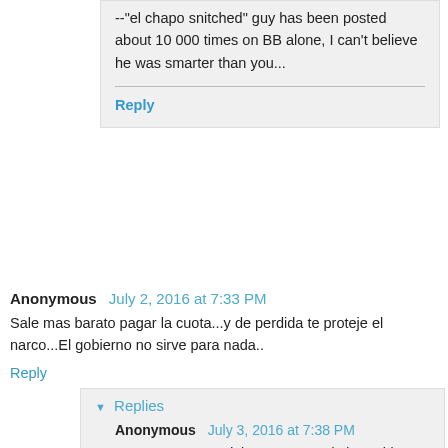--"el chapo snitched" guy has been posted about 10 000 times on BB alone, I can't believe he was smarter than you...
Reply
Anonymous  July 2, 2016 at 7:33 PM
Sale mas barato pagar la cuota...y de perdida te proteje el narco...El gobierno no sirve para nada..
Reply
Replies
Anonymous  July 3, 2016 at 7:38 PM
Los narcos van a dejar Que engorde la cochi y Luego la matan. Tienes razon, Mientras pagas cuota, te proteJen me or Que la policia, pero solo te Dejan ser hasta Que necesitan Dinero Luego te secuestran y te quitan todo lo Que lograste con gran esfuerzo.